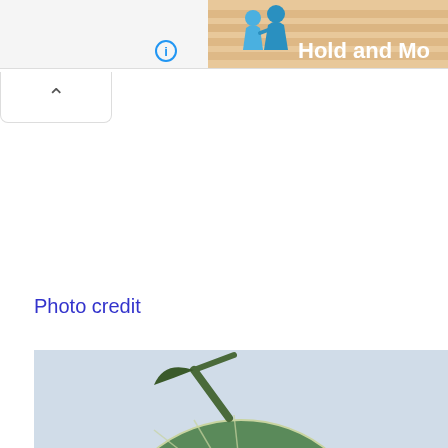[Figure (screenshot): Top bar of a UI with an info icon (circled i) on the left and a partial banner image on the right showing two blue human figures and white text 'Hold and Mo...' on a sandy/striped background. Below the bar is a white chevron-up tab button.]
Photo credit
[Figure (photo): Photo of a large green melon sculpture or playground structure against a light blue sky. The sculpture has a green latticed dome shape with a green stem on top.]